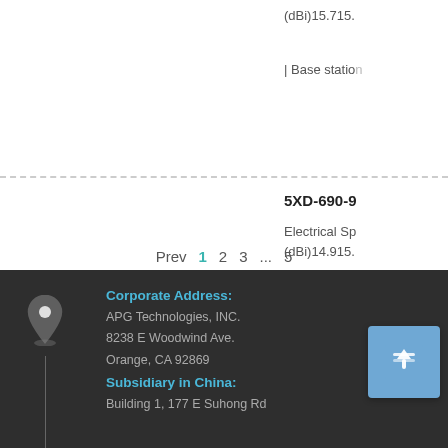(dBi)15.715...
[ Base station...
5XD-690-9...
Electrical Sp... (dBi)14.915...
[ Base station...
Prev  1  2  3  ...  5
Corporate Address:
APG Technologies, INC.
8238 E Woodwind Ave.
Orange, CA 92869
Subsidiary in China:
Building 1, 177 E Suhong Rd